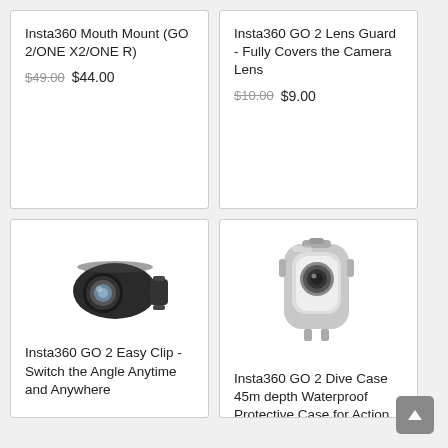Insta360 Mouth Mount (GO 2/ONE X2/ONE R)
$49.00 $44.00
Insta360 GO 2 Lens Guard - Fully Covers the Camera Lens
$10.00 $9.00
[Figure (photo): Insta360 GO 2 Easy Clip camera accessory - small black camera module with lens]
Insta360 GO 2 Easy Clip - Switch the Angle Anytime and Anywhere
[Figure (photo): Insta360 GO 2 Dive Case - clear/silver waterproof protective case]
Insta360 GO 2 Dive Case 45m depth Waterproof Protective Case for Action Camera
$39.00 $35.00